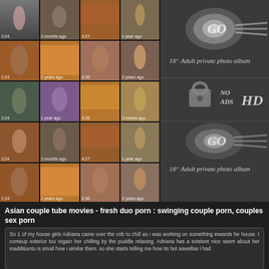[Figure (screenshot): Grid of video thumbnails arranged in 5 rows x 4 columns on the left side of the page, showing candid street photography style thumbnails]
[Figure (infographic): Adult website advertisement banner on right side showing 'GO' button graphic, text '18+ Adult private photo album', lock icon, 'NO ADS' and 'HD' text]
Asian couple tube movies - fresh duo porn : swinging couple porn, couples sex porn
So 1 of my house girls Adriana came over the crib to chill as i was working on something inwards he house. I comeup exterior too regain her chilling by the puddle relaxing. Adriana has a existent nice seem about her inadditionto is small how i similar them. so she starts telling me how its hot aswellas i had